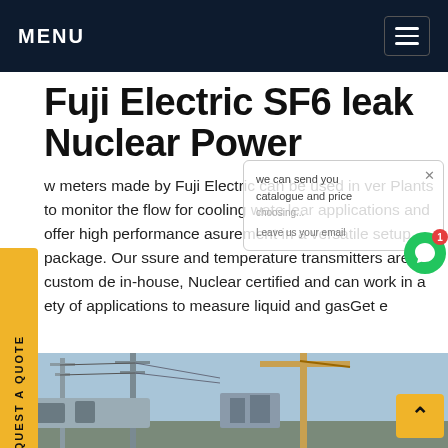MENU
Fuji Electric SF6 leak Nuclear Power
Flow meters made by Fuji Electric can be used in Nuclear Power Plants to monitor the flow for cooling water nuclear applications and offer high performance measurement in a versatile setup package. Our pressure and temperature transmitters are custom made in-house, Nuclear certified and can work in a variety of applications to measure liquid and gasGet price
[Figure (photo): Industrial power station equipment with transmission towers, cables, and crane in background under blue sky]